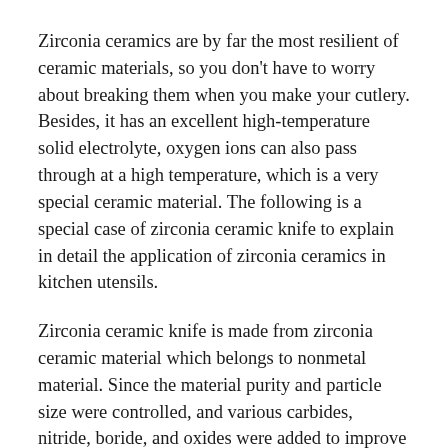Zirconia ceramics are by far the most resilient of ceramic materials, so you don't have to worry about breaking them when you make your cutlery. Besides, it has an excellent high-temperature solid electrolyte, oxygen ions can also pass through at a high temperature, which is a very special ceramic material. The following is a special case of zirconia ceramic knife to explain in detail the application of zirconia ceramics in kitchen utensils.
Zirconia ceramic knife is made from zirconia ceramic material which belongs to nonmetal material. Since the material purity and particle size were controlled, and various carbides, nitride, boride, and oxides were added to improve their properties, not only did the bending strength of the zirconia ceramic knife increase to 0.9~1.0GPa, but also the fracture toughness and impact resistance